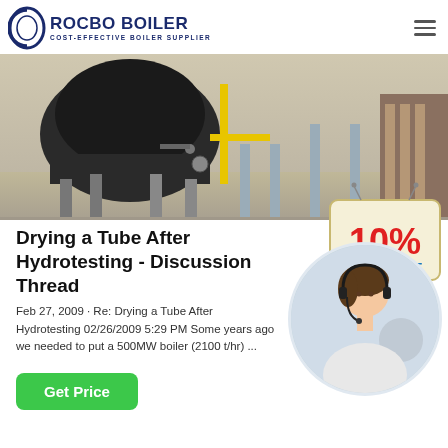ROCBO BOILER — COST-EFFECTIVE BOILER SUPPLIER
[Figure (photo): Industrial boiler machinery with yellow pipes and support structures in a warehouse setting]
Drying a Tube After Hydrotesting - Discussion Thread
[Figure (other): 10% DISCOUNT promotional badge]
Feb 27, 2009 · Re: Drying a Tube After Hydrotesting 02/26/2009 5:29 PM Some years ago we needed to put a 500MW boiler (2100 t/hr) ...
[Figure (photo): Customer service representative woman with headset smiling]
Get Price